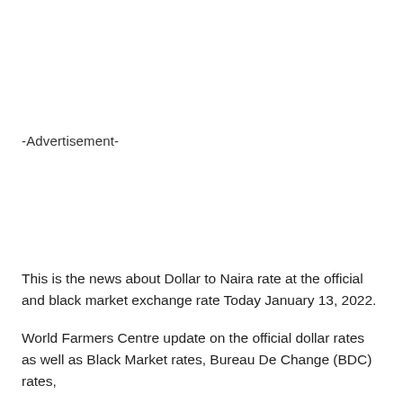-Advertisement-
This is the news about Dollar to Naira rate at the official and black market exchange rate Today January 13, 2022.
World Farmers Centre update on the official dollar rates as well as Black Market rates, Bureau De Change (BDC) rates,